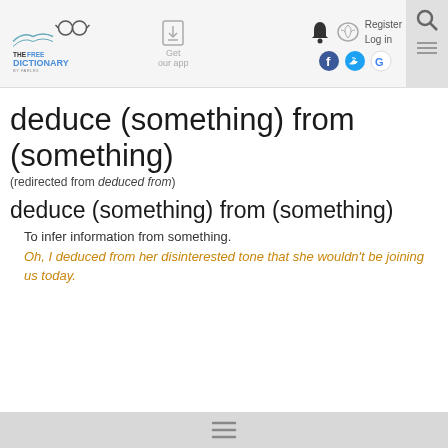THE FREE DICTIONARY by Farlex | Get our app | Register | Log in
deduce (something) from (something)
(redirected from deduced from)
deduce (something) from (something)
To infer information from something.
Oh, I deduced from her disinterested tone that she wouldn't be joining us today.